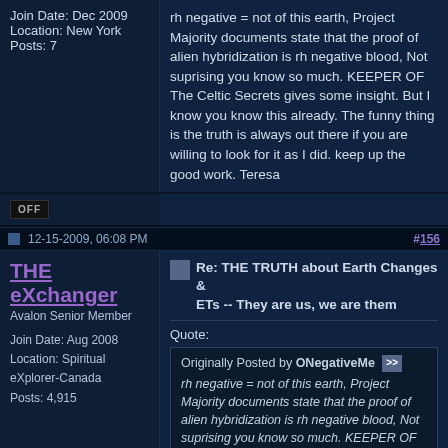Join Date: Dec 2009
Location: New York
Posts: 7
rh negative = not of this earth, Project Majority documents state that the proof of alien hybridization is rh negative blood, Not suprising you know so much. KEEPER OF The Celtic Secrets gives some insight. But I know you know this already. The funny thing is the truth is always out there if you are willing to look for it as I did. keep up the good work. Teresa
OFF
12-15-2009, 06:08 PM   #156
THE eXchanger
Avalon Senior Member
Join Date: Aug 2008
Location: Spiritual eXplorer-Canada
Posts: 4,915
Re: THE TRUTH about Earth Changes & ETs -- They are us, we are them
Quote:
Originally Posted by ONegativeMe
rh negative = not of this earth, Project Majority documents state that the proof of alien hybridization is rh negative blood, Not suprising you know so much. KEEPER OF The Celtic Secrets gives some insight. But I know you know this already. The funny thing is the truth is always out there if you